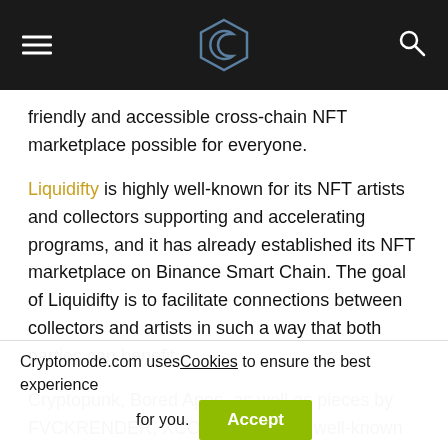[Navigation header with logo, hamburger menu, and search icon]
friendly and accessible cross-chain NFT marketplace possible for everyone.
Liquidifty is highly well-known for its NFT artists and collectors supporting and accelerating programs, and it has already established its NFT marketplace on Binance Smart Chain. The goal of Liquidifty is to facilitate connections between collectors and artists in such a way that both parties can benefit.
Cryptopunk, Bored Apes, as well as pieces by FVCKRENDER, XCOPY, and other well-known NFT artists,
Cryptomode.com uses Cookies to ensure the best experience for you.